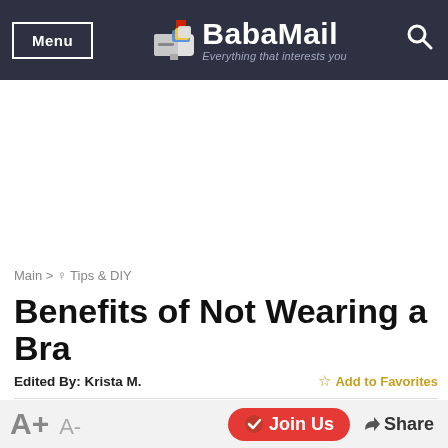Menu | BabaMail Everything that interests you
Main > ♀ Tips & DIY
Benefits of Not Wearing a Bra
Edited By: Krista M.
Add to Favorites
A+ A- Join Us Share